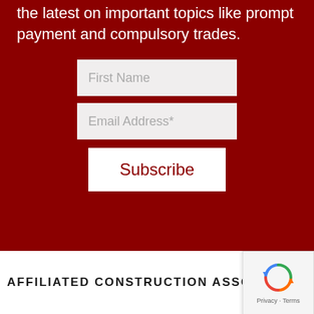the latest on important topics like prompt payment and compulsory trades.
First Name
Email Address*
Subscribe
AFFILIATED CONSTRUCTION ASSOCIATION
[Figure (logo): reCAPTCHA badge with recycling-style arrow logo and Privacy - Terms links]